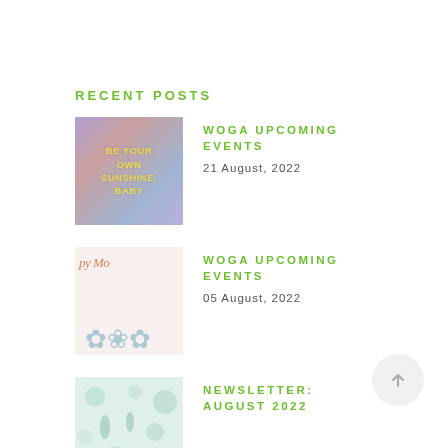RECENT POSTS
[Figure (illustration): Purple/pink gradient background with yellow bold text reading BE YOUR OWN SUNSHINE, BABY]
WOGA UPCOMING EVENTS
21 August, 2022
[Figure (illustration): Light pink background with cursive orange text 'py Mo' and floral botanical illustration at bottom]
WOGA UPCOMING EVENTS
05 August, 2022
[Figure (illustration): Light teal/green floral background with Hello text and botanical illustrations]
NEWSLETTER: AUGUST 2022